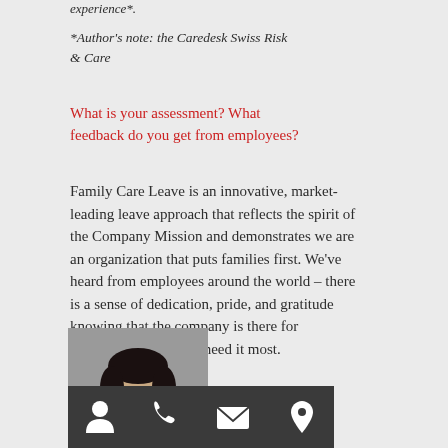experience*.
*Author's note: the Caredesk Swiss Risk & Care
What is your assessment? What feedback do you get from employees?
Family Care Leave is an innovative, market-leading leave approach that reflects the spirit of the Company Mission and demonstrates we are an organization that puts families first. We've heard from employees around the world – there is a sense of dedication, pride, and gratitude knowing that the company is there for employees when they need it most.
[Figure (photo): Portrait photo of a woman with dark hair and glasses, wearing a dark patterned top, against a neutral background. Below the photo is a dark bar with icons: person, phone, envelope, location pin.]